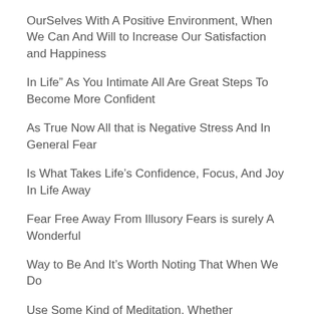OurSelves With A Positive Environment, When We Can And Will to Increase Our Satisfaction and Happiness
In Life” As You Intimate All Are Great Steps To Become More Confident
As True Now All that is Negative Stress And In General Fear
Is What Takes Life’s Confidence, Focus, And Joy In Life Away
Fear Free Away From Illusory Fears is surely A Wonderful
Way to Be And It’s Worth Noting That When We Do
Use Some Kind of Meditation, Whether